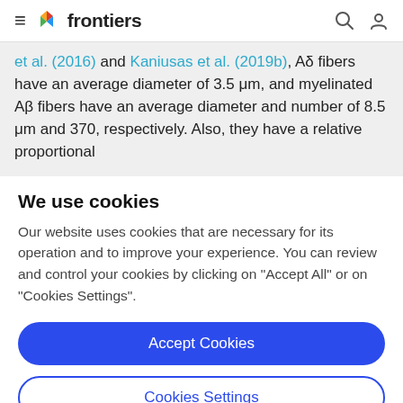frontiers
et al. (2016) and Kaniusas et al. (2019b), Aδ fibers have an average diameter of 3.5 μm, and myelinated Aβ fibers have an average diameter and number of 8.5 μm and 370, respectively. Also, they have a relative proportional
We use cookies
Our website uses cookies that are necessary for its operation and to improve your experience. You can review and control your cookies by clicking on "Accept All" or on "Cookies Settings".
Accept Cookies
Cookies Settings